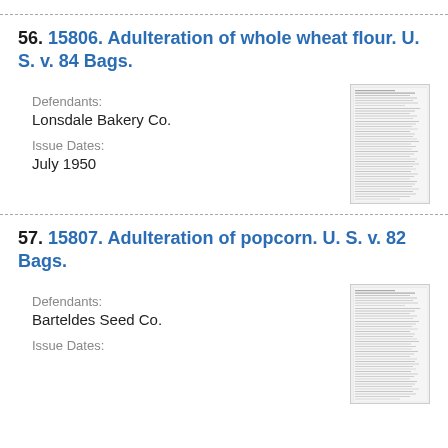56. 15806. Adulteration of whole wheat flour. U. S. v. 84 Bags.
Defendants: Lonsdale Bakery Co.
Issue Dates: July 1950
[Figure (other): Thumbnail image of a legal document page]
57. 15807. Adulteration of popcorn. U. S. v. 82 Bags.
Defendants: Barteldes Seed Co.
Issue Dates:
[Figure (other): Thumbnail image of a legal document page]